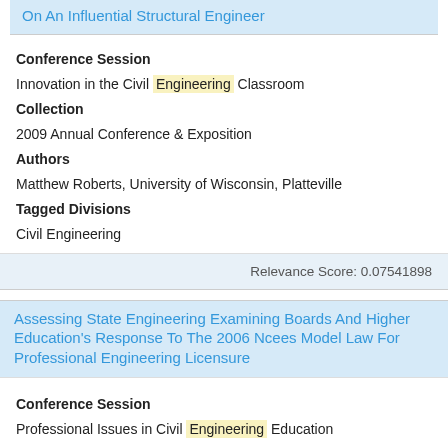On An Influential Structural Engineer
Conference Session
Innovation in the Civil Engineering Classroom
Collection
2009 Annual Conference & Exposition
Authors
Matthew Roberts, University of Wisconsin, Platteville
Tagged Divisions
Civil Engineering
Relevance Score: 0.07541898
Assessing State Engineering Examining Boards And Higher Education's Response To The 2006 Ncees Model Law For Professional Engineering Licensure
Conference Session
Professional Issues in Civil Engineering Education
Collection